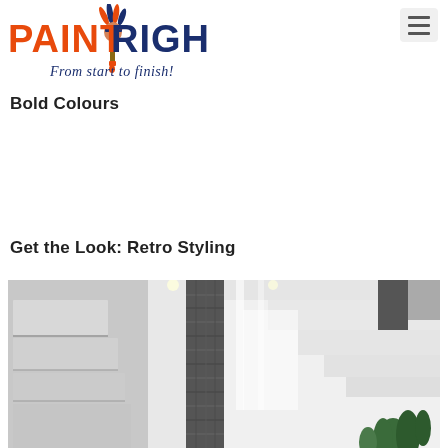[Figure (logo): PaintRight logo with Native American chief figure, orange and dark blue text reading 'PAINTRIGHT' and italic tagline 'From start to finish!']
[Figure (other): Hamburger menu button (three horizontal lines) in a rounded rectangle]
Bold Colours
Get the Look: Retro Styling
[Figure (photo): Modern interior room with white geometric walls, dark stone/tile column in center, built-in white shelving with dark accents, plants visible at bottom right, bright natural lighting]